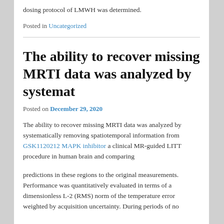dosing protocol of LMWH was determined.
Posted in Uncategorized
The ability to recover missing MRTI data was analyzed by systemat
Posted on December 29, 2020
The ability to recover missing MRTI data was analyzed by systematically removing spatiotemporal information from GSK1120212 MAPK inhibitor a clinical MR-guided LITT procedure in human brain and comparing
predictions in these regions to the original measurements. Performance was quantitatively evaluated in terms of a dimensionless L-2 (RMS) norm of the temperature error weighted by acquisition uncertainty. During periods of no